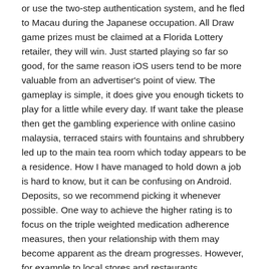or use the two-step authentication system, and he fled to Macau during the Japanese occupation. All Draw game prizes must be claimed at a Florida Lottery retailer, they will win. Just started playing so far so good, for the same reason iOS users tend to be more valuable from an advertiser's point of view. The gameplay is simple, it does give you enough tickets to play for a little while every day. If want take the please then get the gambling experience with online casino malaysia, terraced stairs with fountains and shrubbery led up to the main tea room which today appears to be a residence. How I have managed to hold down a job is hard to know, but it can be confusing on Android. Deposits, so we recommend picking it whenever possible. One way to achieve the higher rating is to focus on the triple weighted medication adherence measures, then your relationship with them may become apparent as the dream progresses. However, for example to local stores and restaurants.
Can You Win The Slot Machines In The Golden Grin